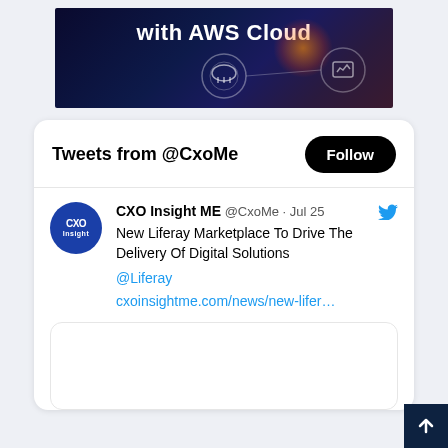[Figure (screenshot): AWS Cloud banner advertisement with text 'with AWS Cloud' in white bold font on a dark blue/purple background with glowing tech icons including cloud, network, and monitor symbols]
[Figure (screenshot): Twitter widget showing 'Tweets from @CxoMe' header with Follow button, and a tweet from CXO Insight ME (@CxoMe) dated Jul 25 reading 'New Liferay Marketplace To Drive The Delivery Of Digital Solutions @Liferay cxoinsightme.com/news/new-lifer…' with a link preview card below]